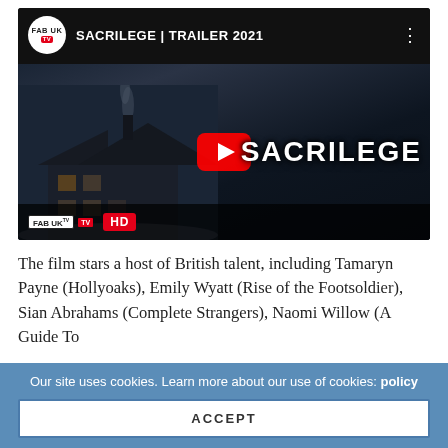[Figure (screenshot): YouTube video thumbnail for SACRILEGE TRAILER 2021 by FAB UK TV. Shows a dark haunted house scene with smoke rising from chimney, YouTube play button in center, SACRILEGE text on right, FAB UK TV logo and HD badge at bottom.]
The film stars a host of British talent, including Tamaryn Payne (Hollyoaks), Emily Wyatt (Rise of the Footsoldier), Sian Abrahams (Complete Strangers), Naomi Willow (A Guide To
Our site uses cookies. Learn more about our use of cookies: policy
ACCEPT